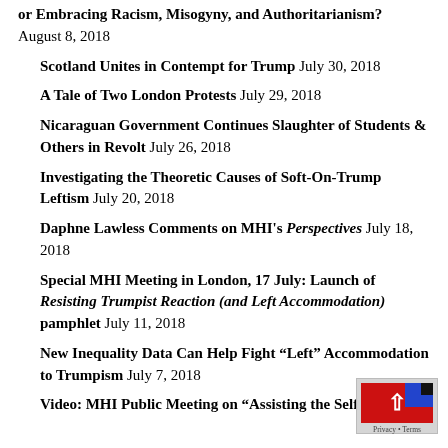or Embracing Racism, Misogyny, and Authoritarianism? August 8, 2018
Scotland Unites in Contempt for Trump July 30, 2018
A Tale of Two London Protests July 29, 2018
Nicaraguan Government Continues Slaughter of Students & Others in Revolt July 26, 2018
Investigating the Theoretic Causes of Soft-On-Trump Leftism July 20, 2018
Daphne Lawless Comments on MHI's Perspectives July 18, 2018
Special MHI Meeting in London, 17 July: Launch of Resisting Trumpist Reaction (and Left Accommodation) pamphlet July 11, 2018
New Inequality Data Can Help Fight “Left” Accommodation to Trumpism July 7, 2018
Video: MHI Public Meeting on “Assisting the Self-Development of ‘The Darkroom’” July 5, 2018